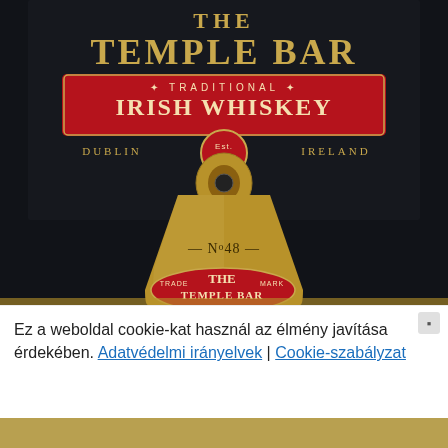[Figure (photo): Photo of The Temple Bar Traditional Irish Whiskey bottle opener product. The top portion shows the product packaging card with dark background, gold lettering reading 'THE TEMPLE BAR', a red banner reading 'TRADITIONAL IRISH WHISKEY', 'DUBLIN Est. 1840 IRELAND'. Below is a brass/gold bottle opener with 'No48' engraved on it, and 'TRADE THE MARK / TEMPLE BAR' in red enamel on the opener head.]
Ez a weboldal cookie-kat használ az élmény javítása érdekében. Adatvédelmi irányelvek | Cookie-szabályzat